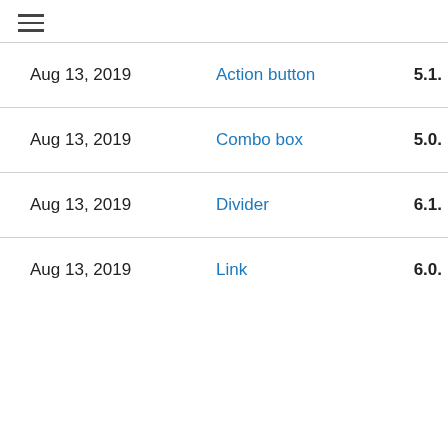≡
| Date | Name | Version |
| --- | --- | --- |
| Aug 13, 2019 | Action button | 5.1. |
| Aug 13, 2019 | Combo box | 5.0. |
| Aug 13, 2019 | Divider | 6.1. |
| Aug 13, 2019 | Link | 6.0. |